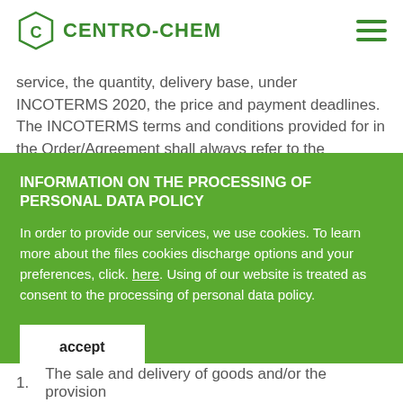CENTRO-CHEM
service, the quantity, delivery base, under INCOTERMS 2020, the price and payment deadlines. The INCOTERMS terms and conditions provided for in the Order/Agreement shall always refer to the currently biding version of INCOTERMS 2020 on the date of the
INFORMATION ON THE PROCESSING OF PERSONAL DATA POLICY
In order to provide our services, we use cookies. To learn more about the files cookies discharge options and your preferences, click. here. Using of our website is treated as consent to the processing of personal data policy.
accept
1.  The sale and delivery of goods and/or the provision